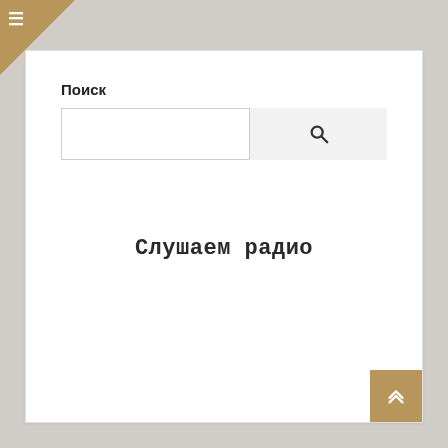[Figure (screenshot): Hamburger menu icon on brown triangular corner background in top-left]
Поиск
[Figure (screenshot): Search bar with text input field and search button with magnifier icon]
Слушаем радио
[Figure (screenshot): Back to top button - brown square with upward chevron arrow in bottom-right corner]